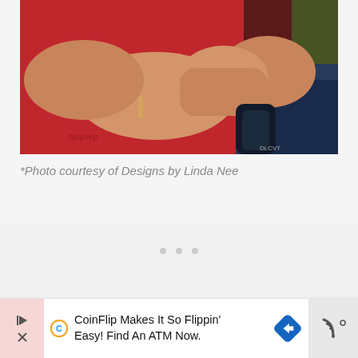[Figure (photo): Close-up photo of a child in a red shirt with chubby arms, hands clasped together, holding a dark water bottle. Green background visible.]
*Photo courtesy of Designs by Linda Nee
[Figure (other): Three small grey dots in a row, indicating a pagination or slideshow indicator]
[Figure (other): Advertisement banner: CoinFlip Makes It So Flippin' Easy! Find An ATM Now. With CoinFlip logo (C), a blue diamond/arrow icon, and a wireless symbol on the right.]